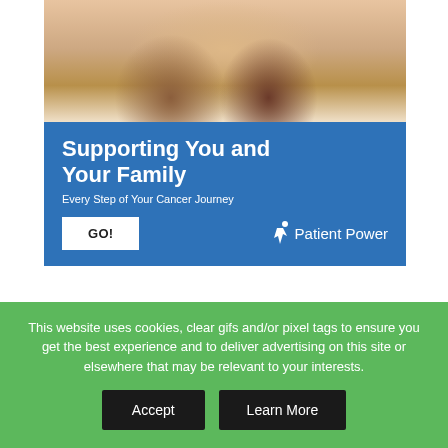[Figure (photo): Photo of two women smiling together, one hugging the other from behind, in a home setting]
Supporting You and Your Family
Every Step of Your Cancer Journey
GO!  ✦ Patient Power
Hom took Xalkori briefly before switching to Alecensa. She found the treatment left her exhausted, but there were soon signs that it was working. Scans showed that it was...
This website uses cookies, clear gifs and/or pixel tags to ensure you get the best experience and to deliver advertising on this site or elsewhere that may be relevant to your interests.
Accept   Learn More